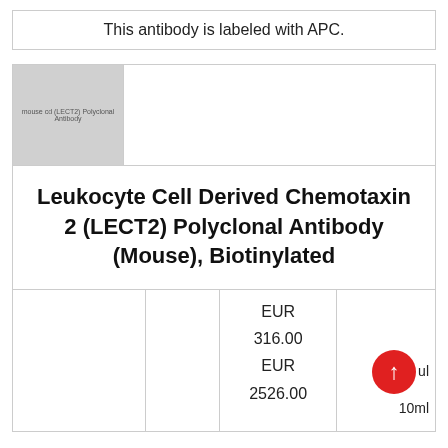This antibody is labeled with APC.
[Figure (photo): Product image placeholder showing antibody product label text for Leukocyte Cell Derived Chemotaxin 2 (LECT2) Polyclonal Antibody]
Leukocyte Cell Derived Chemotaxin 2 (LECT2) Polyclonal Antibody (Mouse), Biotinylated
|  |  | Price | Quantity |
| --- | --- | --- | --- |
|  |  | EUR 316.00 |  |
|  |  | EUR 2526.00 | 10ml |